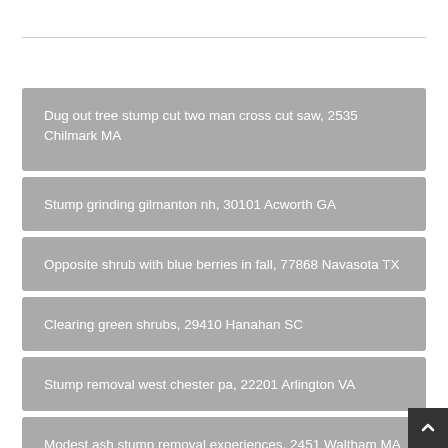Dug out tree stump cut two man cross cut saw, 2535 Chilmark MA
Stump grinding gilmanton nh, 30101 Acworth GA
Opposite shrub with blue berries in fall, 77868 Navasota TX
Clearing green shrubs, 29410 Hanahan SC
Stump removal west chester pa, 22201 Arlington VA
Modest ash stump removal experiences, 2451 Waltham MA